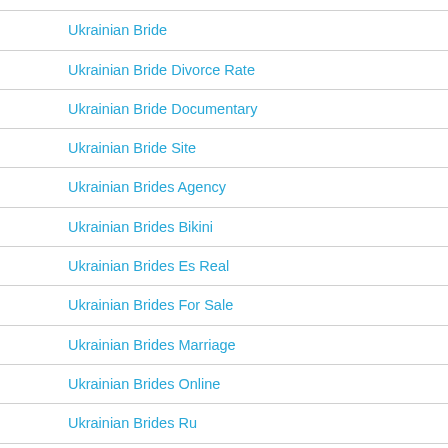Ukrainea Brides
Ukrainian Bride
Ukrainian Bride Divorce Rate
Ukrainian Bride Documentary
Ukrainian Bride Site
Ukrainian Brides Agency
Ukrainian Brides Bikini
Ukrainian Brides Es Real
Ukrainian Brides For Sale
Ukrainian Brides Marriage
Ukrainian Brides Online
Ukrainian Brides Ru
Ukrainian Brides Site